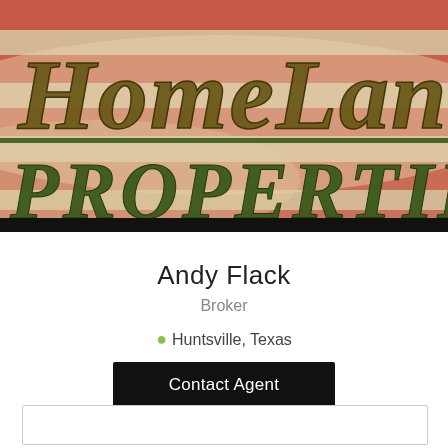[Figure (logo): HomeLand Properties logo banner with American flag background. Large italic text 'HomeLand' in dark olive/gold color on top, 'PROPERTIES' in dark green bold italic below, with a dark green horizontal divider line between them.]
Andy Flack
Broker
Huntsville, Texas
Contact Agent
936-295-2500